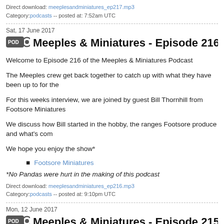Direct download: meeplesandminiatures_ep217.mp3
Category:podcasts -- posted at: 7:52am UTC
Sat, 17 June 2017
Meeples & Miniatures - Episode 216 - Foots...
Welcome to Episode 216 of the Meeples & Miniatures Podcast
The Meeples crew get back together to catch up with what they have been up to for the...
For this weeks interview, we are joined by guest Bill Thornhill from Footsore Miniatures...
We discuss how Bill started in the hobby, the ranges Footsore produce and what's com...
We hope you enjoy the show*
Footsore Miniatures
*No Pandas were hurt in the making of this podcast
Direct download: meeplesandminiatures_ep216.mp3
Category:podcasts -- posted at: 9:10pm UTC
Mon, 12 June 2017
Meeples & Miniatures - Episode 215 - White...
Welcome to Episode 215 of the Meeples & Miniatures Podcast
In this show the Meeples Crew are joined by guest Alan Crooks of White Dragon Minia...
We discuss WDM's two kickstarter projects: MTU & Shattered Void, along with their gr...
We hope you enjoy the show.
White Dragon Miniatures